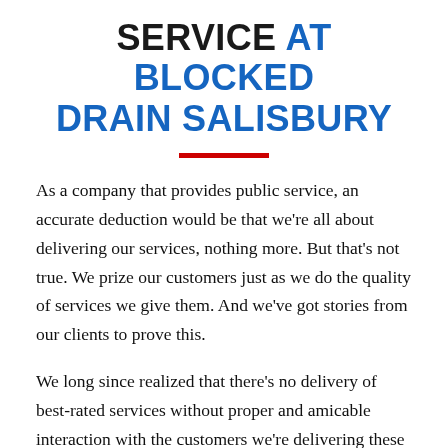SERVICE AT BLOCKED DRAIN SALISBURY
As a company that provides public service, an accurate deduction would be that we're all about delivering our services, nothing more. But that's not true. We prize our customers just as we do the quality of services we give them. And we've got stories from our clients to prove this.
We long since realized that there's no delivery of best-rated services without proper and amicable interaction with the customers we're delivering these services to. Our customer services don't just stop at friendly greetings and conversations. It pans out to the impeccability of our service, our affordable rates